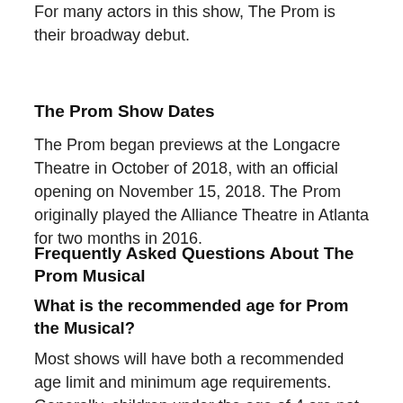For many actors in this show, The Prom is their broadway debut.
The Prom Show Dates
The Prom began previews at the Longacre Theatre in October of 2018, with an official opening on November 15, 2018. The Prom originally played the Alliance Theatre in Atlanta for two months in 2016.
Frequently Asked Questions About The Prom Musical
What is the recommended age for Prom the Musical?
Most shows will have both a recommended age limit and minimum age requirements. Generally, children under the age of 4 are not permitted at Broadway shows. The Prom is intended for ages 8 and up.